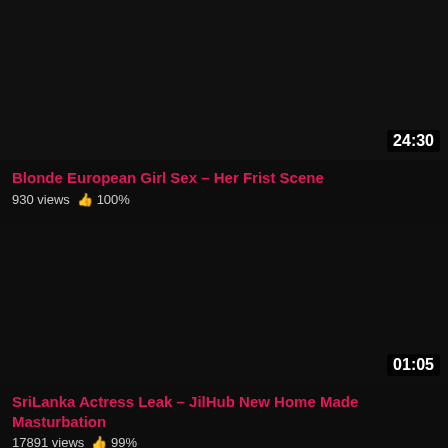[Figure (screenshot): Dark video thumbnail for first video, showing duration 24:30 in bottom right corner]
Blonde European Girl Sex – Her Frist Scene
930 views  👍 100%
[Figure (screenshot): Dark video thumbnail for second video, showing duration 01:05 in bottom right corner]
SriLanka Actress Leak – JilHub New Home Made Masturbation
17891 views  👍 99%